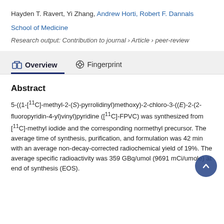Hayden T. Ravert, Yi Zhang, Andrew Horti, Robert F. Dannals
School of Medicine
Research output: Contribution to journal › Article › peer-review
Overview
Fingerprint
Abstract
5-((1-[11C]-methyl-2-(S)-pyrrolidinyl)methoxy)-2-chloro-3-((E)-2-(2-fluoropyridin-4-yl)vinyl)pyridine ([11C]-FPVC) was synthesized from [11C]-methyl iodide and the corresponding normethyl precursor. The average time of synthesis, purification, and formulation was 42 min with an average non-decay-corrected radiochemical yield of 19%. The average specific radioactivity was 359 GBq/umol (9691 mCi/umole) at end of synthesis (EOS).